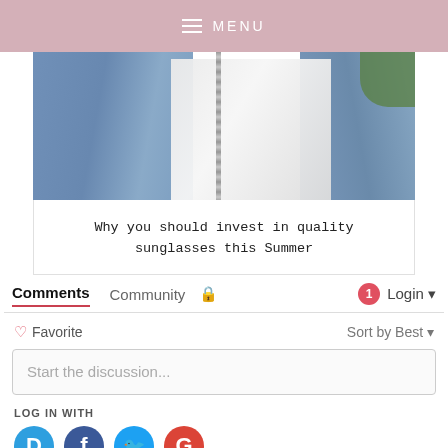MENU
[Figure (photo): Person wearing a denim jacket over a white shirt with a chain-strap bag, photographed from chest/torso level with greenery in background]
Why you should invest in quality sunglasses this Summer
Comments  Community  Login
Favorite  Sort by Best
Start the discussion...
LOG IN WITH